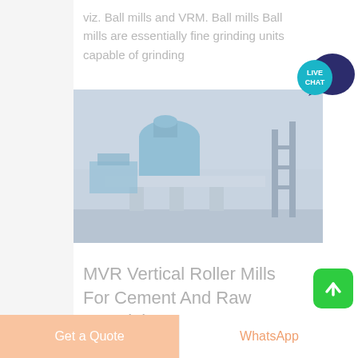viz. Ball mills and VRM. Ball mills Ball mills are essentially fine grinding units capable of grinding
[Figure (photo): Industrial milling machine (likely a Vertical Roller Mill) photographed outdoors, light blue/grey tones, foggy conditions]
MVR Vertical Roller Mills For Cement And Raw Material ...